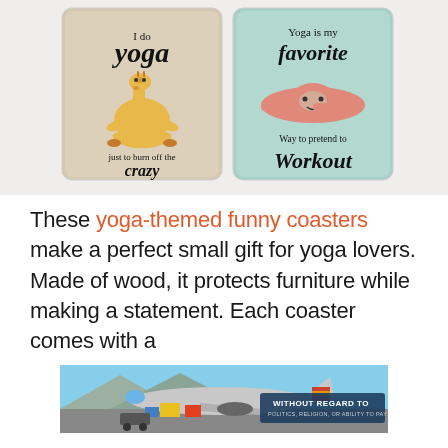[Figure (photo): Two square yoga-themed funny coasters side by side. Left coaster: tan/beige background, cartoon giraffe in yoga lotus pose, text reads 'I do yoga just to burn off the crazy'. Right coaster: mint/teal background, cartoon sloth doing yoga pose, text reads 'Yoga is my favorite Way to pretend to Workout'.]
These yoga-themed funny coasters make a perfect small gift for yoga lovers. Made of wood, it protects furniture while making a statement. Each coaster comes with a
[Figure (photo): Advertisement banner showing an airplane being loaded with cargo at an airport, with text overlay reading 'WITHOUT REGARD TO POLITICS, RELIGION, OR ABILITY TO PAY']